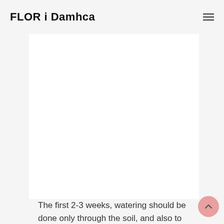FLOR i Damhca
[Figure (photo): Large white rectangle area representing a placeholder for an image on a light gray page background]
The first 2-3 weeks, watering should be done only through the soil, and also to